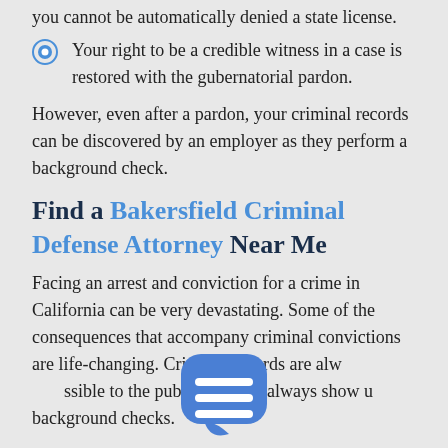you cannot be automatically denied a state license.
Your right to be a credible witness in a case is restored with the gubernatorial pardon.
However, even after a pardon, your criminal records can be discovered by an employer as they perform a background check.
Find a Bakersfield Criminal Defense Attorney Near Me
Facing an arrest and conviction for a crime in California can be very devastating. Some of the consequences that accompany criminal convictions are life-changing. Criminal records are always accessible to the public and will always show up on background checks.
[Figure (illustration): Blue chat/message bubble icon with two white horizontal lines, partially obscuring body text]